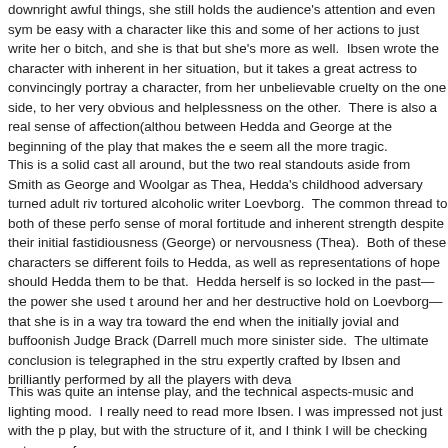downright awful things, she still holds the audience's attention and even sym be easy with a character like this and some of her actions to just write her o bitch, and she is that but she's more as well. Ibsen wrote the character with inherent in her situation, but it takes a great actress to convincingly portray a character, from her unbelievable cruelty on the one side, to her very obvious and helplessness on the other. There is also a real sense of affection(althou between Hedda and George at the beginning of the play that makes the e seem all the more tragic.
This is a solid cast all around, but the two real standouts aside from Smith as George and Woolgar as Thea, Hedda's childhood adversary turned adult riv tortured alcoholic writer Loevborg. The common thread to both of these perfo sense of moral fortitude and inherent strength despite their initial fastidiousness (George) or nervousness (Thea). Both of these characters se different foils to Hedda, as well as representations of hope should Hedda them to be that. Hedda herself is so locked in the past—the power she used t around her and her destructive hold on Loevborg—that she is in a way tra toward the end when the initially jovial and buffoonish Judge Brack (Darrell much more sinister side. The ultimate conclusion is telegraphed in the stru expertly crafted by Ibsen and brilliantly performed by all the players with deva
This was quite an intense play, and the technical aspects-music and lighting mood. I really need to read more Ibsen. I was impressed not just with the p play, but with the structure of it, and I think I will be checking out more of